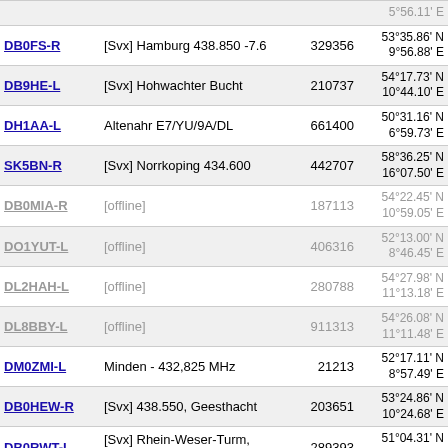| Callsign | Description | Node | Coordinates | Locator |
| --- | --- | --- | --- | --- |
| DB0FS-R | [Svx] Hamburg 438.850 -7.6 | 329356 | 53°35.86' N
9°56.88' E | JO43xo |
| DB9HE-L | [Svx] Hohwachter Bucht | 210737 | 54°17.73' N
10°44.10' E | JO54ih |
| DH1AA-L | Altenahr E7/YU/9A/DL | 661400 | 50°31.16' N
6°59.73' E | JO30lm |
| SK5BN-R | [Svx] Norrkoping 434.600 | 442707 | 58°36.25' N
16°07.50' E | JO88bo |
| DB0MIA-R | [offline] | 187113 | 54°22.45' N
10°59.05' E | JO54li |
| DO1YUT-L | [offline] | 406316 | 52°13.00' N
8°46.45' E | JO42jf |
| DL2HAH-L | [offline] | 280788 | 54°27.98' N
11°13.18' E | JO54ol |
| DL8BBY-L | [offline] | 911313 | 54°26.08' N
11°11.48' E | JO54ok |
| DM0ZMI-L | Minden - 432,825 MHz | 21213 | 52°17.11' N
8°57.49' E | JO42lg |
| DB0HEW-R | [Svx] 438.550, Geesthacht | 203651 | 53°24.86' N
10°24.68' E | JO53ej |
| DB0RWT-L | [Svx] Rhein-Weser-Turm, O28 | 289393 | 51°04.31' N
8°11.83' E | JO41cb |
| LW3DSM-L | In Conference *NAUTICA* | 456931 | 35°34.00' S
58°01.00' W | GF04xk |
| DB0VKS-R | [Svx] Ueberherrn-Berus | 365144 | 49°15.91' N
6°41.93' E | JN39ig |